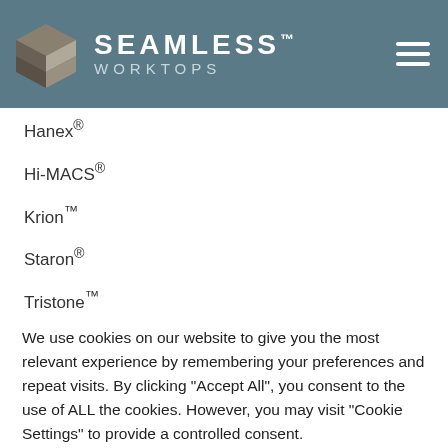[Figure (logo): Seamless Worktops logo with geometric S-shaped icon and text 'SEAMLESS WORKTOPS' on a teal/slate header bar]
Hanex®
Hi-MACS®
Krion™
Staron®
Tristone™
1810 Sinks & Taps
We use cookies on our website to give you the most relevant experience by remembering your preferences and repeat visits. By clicking "Accept All", you consent to the use of ALL the cookies. However, you may visit "Cookie Settings" to provide a controlled consent.